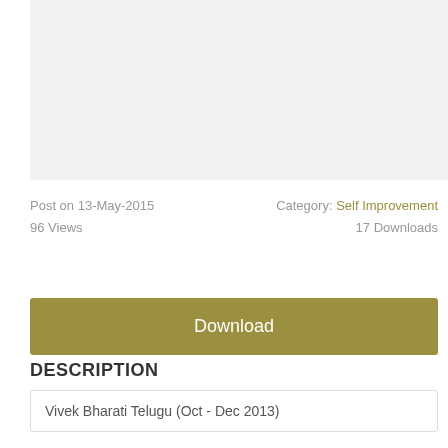[Figure (other): Light gray image placeholder area]
Post on 13-May-2015
Category: Self Improvement
96 Views
17 Downloads
Download
DESCRIPTION
Vivek Bharati Telugu (Oct - Dec 2013)